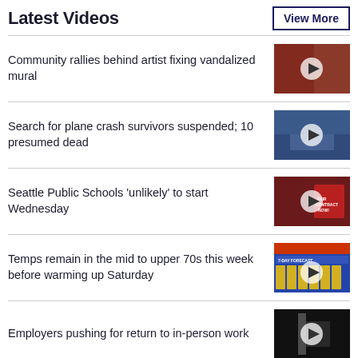Latest Videos
View More
Community rallies behind artist fixing vandalized mural
[Figure (photo): Video thumbnail showing a mural scene with a play button overlay]
Search for plane crash survivors suspended; 10 presumed dead
[Figure (photo): Video thumbnail showing a ship at sea with a play button overlay]
Seattle Public Schools 'unlikely' to start Wednesday
[Figure (photo): Video thumbnail showing protest signs including 'Fair Contract Now' with a play button overlay]
Temps remain in the mid to upper 70s this week before warming up Saturday
[Figure (photo): Video thumbnail showing a weather forecast graphic with a play button overlay]
Employers pushing for return to in-person work
[Figure (photo): Video thumbnail showing a dark indoor scene with a play button overlay]